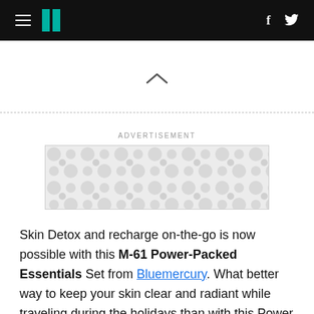HuffPost navigation logo with hamburger menu, HuffPost icon, Facebook and Twitter icons
[Figure (other): Advertisement placeholder box with decorative circular blob pattern in light grey]
Skin Detox and recharge on-the-go is now possible with this M-61 Power-Packed Essentials Set from Bluemercury. What better way to keep your skin clear and radiant while traveling during the holidays than with this Power Cleanse, PowerGlow Moisturizer, Hydraboost Eye Serum,